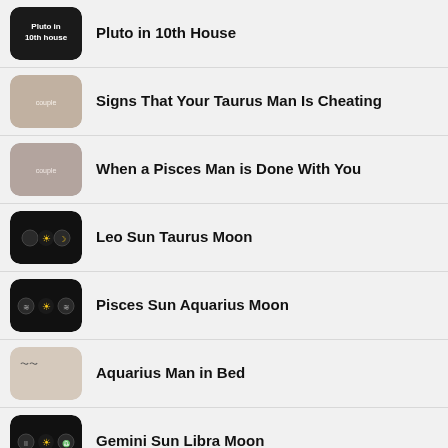Pluto in 10th House
Signs That Your Taurus Man Is Cheating
When a Pisces Man is Done With You
Leo Sun Taurus Moon
Pisces Sun Aquarius Moon
Aquarius Man in Bed
Gemini Sun Libra Moon